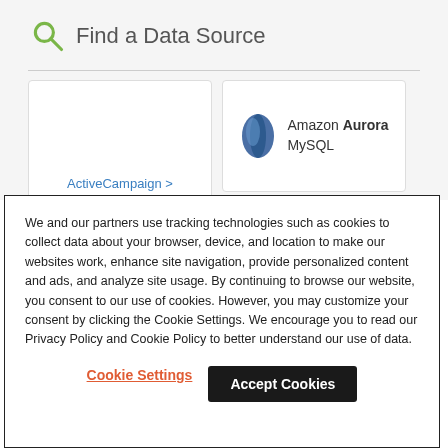Find a Data Source
[Figure (screenshot): ActiveCampaign connector card with blue link text and chevron]
[Figure (logo): Amazon Aurora MySQL logo with blue teardrop icon]
We and our partners use tracking technologies such as cookies to collect data about your browser, device, and location to make our websites work, enhance site navigation, provide personalized content and ads, and analyze site usage. By continuing to browse our website, you consent to our use of cookies. However, you may customize your consent by clicking the Cookie Settings. We encourage you to read our Privacy Policy and Cookie Policy to better understand our use of data.
Cookie Settings
Accept Cookies